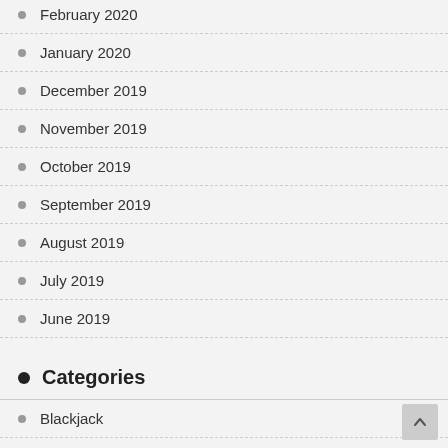February 2020
January 2020
December 2019
November 2019
October 2019
September 2019
August 2019
July 2019
June 2019
Categories
Blackjack